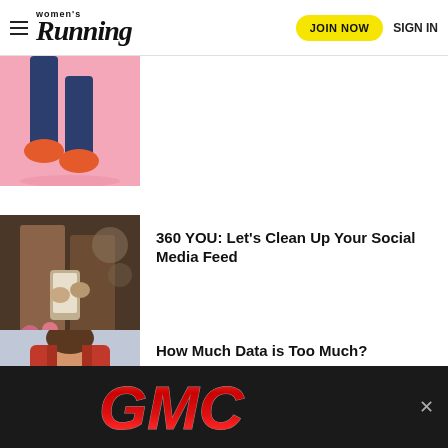women's Running — JOIN NOW | SIGN IN
[Figure (photo): Runner's legs with pink background and orange/coral running shoes]
[Figure (photo): Women looking at phone, sitting outdoors]
360 YOU: Let's Clean Up Your Social Media Feed
[Figure (photo): Woman in red athletic wear checking fitness tracker on wrist]
How Much Data is Too Much?
[Figure (other): GMC advertisement banner on dark background]